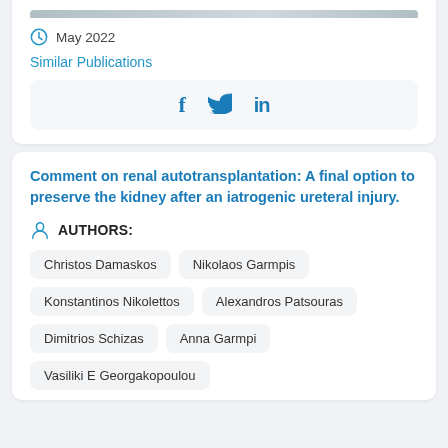May 2022
Similar Publications
[Figure (other): Social media share icons: Facebook (f), Twitter (bird), LinkedIn (in)]
Comment on renal autotransplantation: A final option to preserve the kidney after an iatrogenic ureteral injury.
AUTHORS:
Christos Damaskos
Nikolaos Garmpis
Konstantinos Nikolettos
Alexandros Patsouras
Dimitrios Schizas
Anna Garmpi
Vasiliki E Georgakopoulou